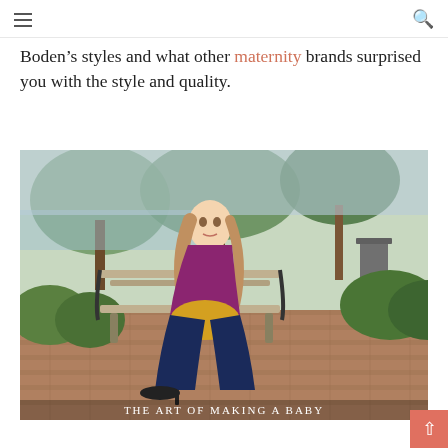navigation header with hamburger menu and search icon
Boden’s styles and what other maternity brands surprised you with the style and quality.
[Figure (photo): A pregnant woman in a purple top, yellow shorts, and navy leggings sitting sideways on a park bench on a brick patio, surrounded by green trees and shrubs. Text watermark at bottom: THE ART OF MAKING A BABY]
scroll to top button